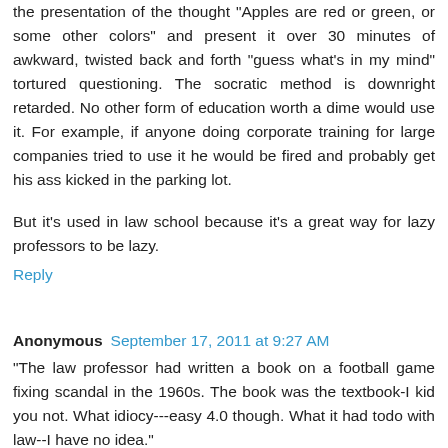the presentation of the thought "Apples are red or green, or some other colors" and present it over 30 minutes of awkward, twisted back and forth "guess what's in my mind" tortured questioning. The socratic method is downright retarded. No other form of education worth a dime would use it. For example, if anyone doing corporate training for large companies tried to use it he would be fired and probably get his ass kicked in the parking lot.
But it's used in law school because it's a great way for lazy professors to be lazy.
Reply
Anonymous  September 17, 2011 at 9:27 AM
"The law professor had written a book on a football game fixing scandal in the 1960s. The book was the textbook-I kid you not. What idiocy---easy 4.0 though. What it had todo with law--I have no idea."
lol.